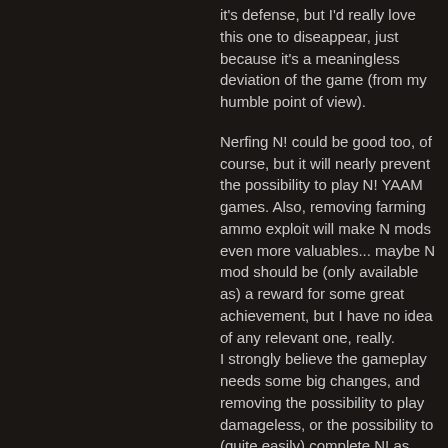it's defense, but I'd really love this one to diseappear, just because it's a meaningless deviation of the game (from my humble point of view).
Nerfing N! could be good too, of course, but it will nearly prevent the possibility to play N! YAAM games. Also, removing farming ammo exploit will make N mods even more valuables... maybe N mod should be (only available as) a reward for some great achievement, but I have no idea of any relevant one, really. I strongly believe the gameplay needs some big changes, and removing the possibility to play damageless, or the possibility to (quite easily) complete N! as YAAM would, in my opinion, be great improvements making gameplay more dynamic, but... that's not for